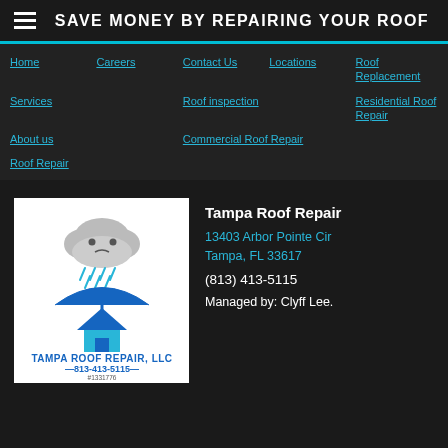SAVE MONEY BY REPAIRING YOUR ROOF
Home
Careers
Contact Us
Locations
Roof Replacement
Services
Roof inspection
Residential Roof Repair
About us
Commercial Roof Repair
Roof Repair
[Figure (logo): Tampa Roof Repair LLC logo with cartoon rain cloud and umbrella over a house]
Tampa Roof Repair
13403 Arbor Pointe Cir
Tampa, FL 33617
(813) 413-5115
Managed by: Clyff Lee.